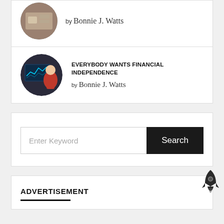[Figure (photo): Circular avatar photo of author, partially visible at top]
by Bonnie J. Watts
[Figure (photo): Circular avatar photo showing a person in red looking at financial charts on a computer monitor]
EVERYBODY WANTS FINANCIAL INDEPENDENCE
by Bonnie J. Watts
Enter Keyword
Search
ADVERTISEMENT
[Figure (illustration): Rocket ship icon in dark gray/black, positioned at right side]